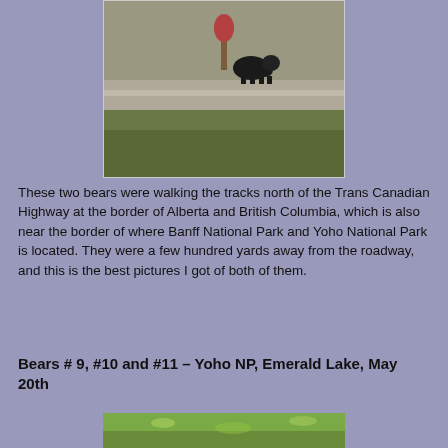[Figure (photo): A bear walking along railway tracks north of the Trans Canadian Highway, with a hillside in the background and a small red tree visible. The landscape is autumn/fall colored.]
These two bears were walking the tracks north of the Trans Canadian Highway at the border of Alberta and British Columbia, which is also near the border of where Banff National Park and Yoho National Park is located.  They were a few hundred yards away from the roadway, and this is the best pictures I got of both of them.
Bears # 9, #10 and #11 – Yoho NP, Emerald Lake, May 20th
[Figure (photo): Partial view of a green grassy area, likely near Emerald Lake in Yoho National Park.]